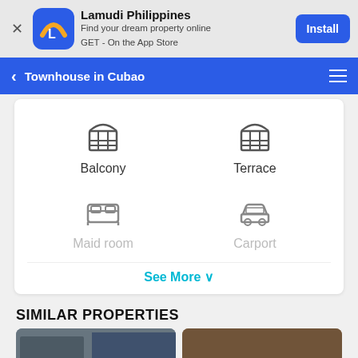[Figure (screenshot): Lamudi Philippines app install banner with blue app icon showing orange and white L logo]
Townhouse in Cubao
[Figure (infographic): Amenity icons: Balcony (arch window icon) and Terrace (arch window icon), Maid room (bed icon) and Carport (car icon), with See More link]
SIMILAR PROPERTIES
[Figure (photo): Two featured property listing thumbnail images labeled FEATURED]